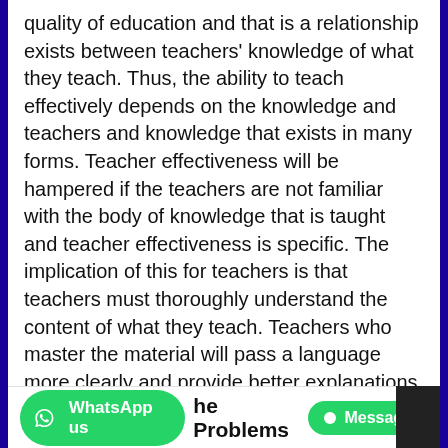quality of education and that is a relationship exists between teachers' knowledge of what they teach. Thus, the ability to teach effectively depends on the knowledge and teachers and knowledge that exists in many forms. Teacher effectiveness will be hampered if the teachers are not familiar with the body of knowledge that is taught and teacher effectiveness is specific. The implication of this for teachers is that teachers must thoroughly understand the content of what they teach. Teachers who master the material will pass a language more clearly and provide better explanations than those with weaker backgrounds. Perspective of students to teachers in this mastery of the material have a significant influence on students' academic performance.
WhatsApp us   he Problems   Message